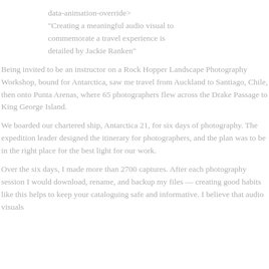data-animation-override>
"Creating a meaningful audio visual to commemorate a travel experience is detailed by Jackie Ranken"
Being invited to be an instructor on a Rock Hopper Landscape Photography Workshop, bound for Antarctica, saw me travel from Auckland to Santiago, Chile, then onto Punta Arenas, where 65 photographers flew across the Drake Passage to King George Island.
We boarded our chartered ship, Antarctica 21, for six days of photography. The expedition leader designed the itinerary for photographers, and the plan was to be in the right place for the best light for our work.
Over the six days, I made more than 2700 captures. After each photography session I would download, rename, and backup my files — creating good habits like this helps to keep your cataloguing safe and informative. I believe that audio visuals…